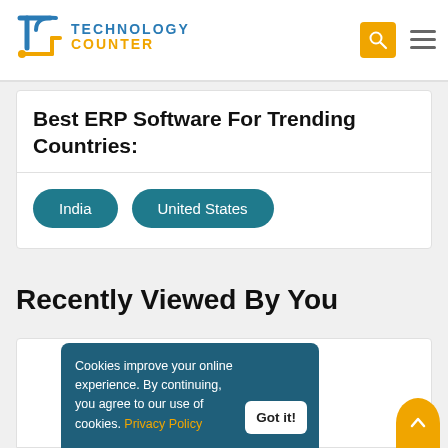Technology Counter
Best ERP Software For Trending Countries:
India
United States
Recently Viewed By You
[Figure (screenshot): Broken image placeholder inside a white card]
Cookies improve your online experience. By continuing, you agree to our use of cookies. Privacy Policy
Got it!